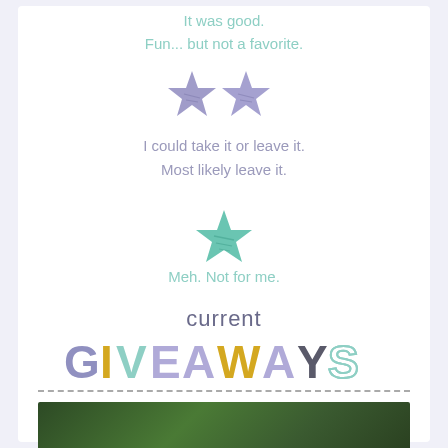It was good.
Fun... but not a favorite.
[Figure (illustration): Two purple/lavender stars side by side]
I could take it or leave it.
Most likely leave it.
[Figure (illustration): One teal/green star]
Meh. Not for me.
current
GIVEAWAYS
[Figure (photo): Green/dark nature photo strip at bottom]